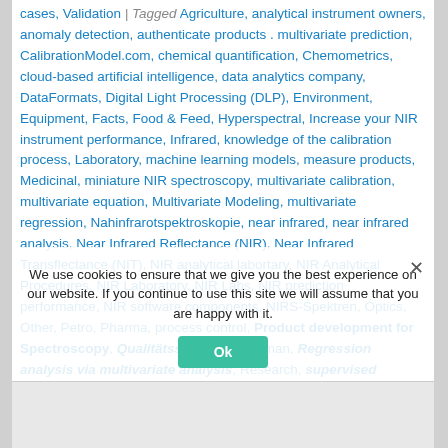cases, Validation | Tagged Agriculture, analytical instrument owners, anomaly detection, authenticate products . multivariate prediction, CalibrationModel.com, chemical quantification, Chemometrics, cloud-based artificial intelligence, data analytics company, DataFormats, Digital Light Processing (DLP), Environment, Equipment, Facts, Food & Feed, Hyperspectral, Increase your NIR instrument performance, Infrared, knowledge of the calibration process, Laboratory, machine learning models, measure products, Medicinal, miniature NIR spectroscopy, multivariate calibration, multivariate equation, Multivariate Modeling, multivariate regression, Nahinfrarotspektroskopie, near infrared, near infrared analysis, Near Infrared Reflectance (NIR), Near Infrared Transflectance (NIT), NIR analytical labortary, NIR Analytical Procedures, NIR Laboratory, NIR Labs, NIR prediction performance, NIR software components, NIRS-Spektren, Optics, Other, Petro, Pharma, process control, Product development for Spectroscopy, Qualitätssicherung, Raman, Regression analysis via multivariate analysis, Research, supervised learning for NIR
We use cookies to ensure that we give you the best experience on our website. If you continue to use this site we will assume that you are happy with it.